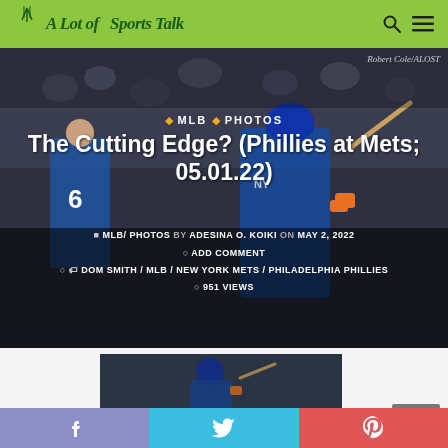A Lot of Sports Talk — header with logo, search and menu icons
[Figure (photo): Baseball player in New York Mets uniform (#6 visible in background) batting, with stadium crowd in background. Photo credit: Robert Cole/ALOST]
Robert Cole/ALOST
MLB  ◆  PHOTOS
The Cutting Edge? (Phillies at Mets; 05.01.22)
MLB/ PHOTOS by ADESINA O. KOIKI on MAY 2, 2022
ADD COMMENT
DOM SMITH / MLB / NEW YORK METS / PHILADELPHIA PHILLIES
951 VIEWS
[Figure (photo): Second photo of Mets batter swinging, partial view at bottom of page]
Facebook  Twitter  Pinterest — social share buttons